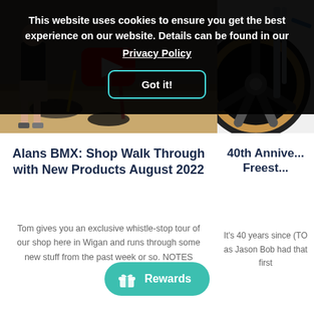This website uses cookies to ensure you get the best experience on our website. Details can be found in our Privacy Policy
[Figure (screenshot): Cookie consent banner with dark overlay, bold white text, underlined Privacy Policy link, and a 'Got it!' button with teal border]
[Figure (screenshot): YouTube video thumbnail showing a man in a BMX bike shop with red and yellow bikes, with a large red YouTube play button overlay]
[Figure (photo): Close-up of a BMX bike mag wheel with tan/gum sidewall tire and chrome fork, partial view on white background]
Alans BMX: Shop Walk Through with New Products August 2022
Tom gives you an exclusive whistle-stop tour of our shop here in Wigan and runs through some new stuff from the past week or so. NOTES
40th Annive... Freest...
It's 40 years since (TO as Jason Bob had that first
[Figure (infographic): Teal oval Rewards button with gift box icon and 'Rewards' text]